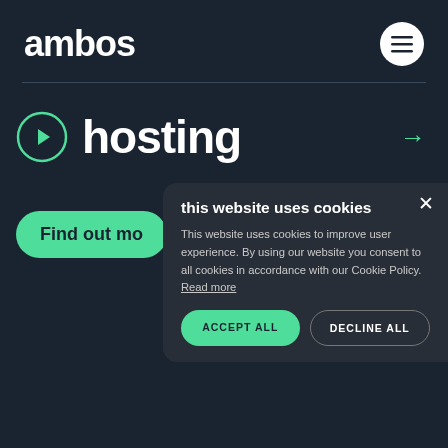ambos
[Figure (illustration): Hamburger menu icon button (three horizontal lines) in a white circle]
[Figure (illustration): Green circle with right-pointing arrow icon, next to the word 'hosting', with a green arrow on the right]
hosting
Find out mo
this website uses cookies
This website uses cookies to improve user experience. By using our website you consent to all cookies in accordance with our Cookie Policy. Read more
ACCEPT ALL
DECLINE ALL